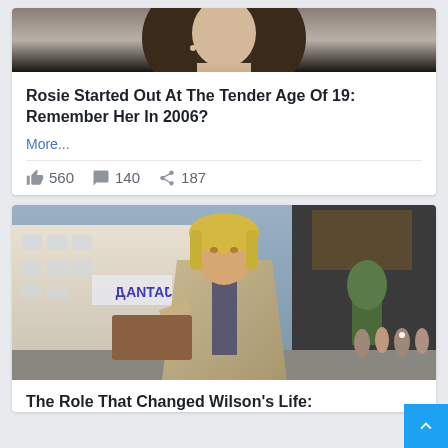[Figure (photo): Close-up photo of a woman with long dark hair, cropped at chin/neck level, dark background]
Rosie Started Out At The Tender Age Of 19: Remember Her In 2006?
More...
560  140  187
[Figure (photo): Man with long blonde hair in a beige blazer signing autographs on a city street with crowd in background]
The Role That Changed Wilson's Life: